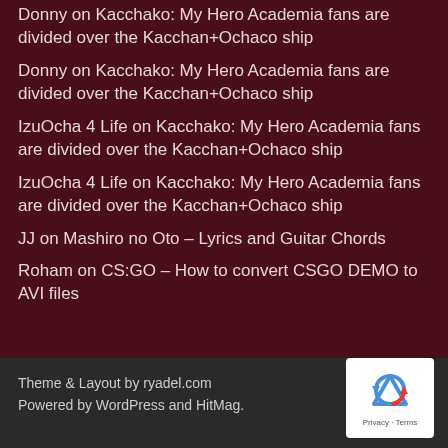Donny on Kacchako: My Hero Academia fans are divided over the Kacchan+Ochaco ship
Donny on Kacchako: My Hero Academia fans are divided over the Kacchan+Ochaco ship
IzuOcha 4 Life on Kacchako: My Hero Academia fans are divided over the Kacchan+Ochaco ship
IzuOcha 4 Life on Kacchako: My Hero Academia fans are divided over the Kacchan+Ochaco ship
JJ on Mashiro no Oto – Lyrics and Guitar Chords
Roham on CS:GO – How to convert CSGO DEMO to AVI files
Theme & Layout by ryadel.com
Powered by WordPress and HitMag.